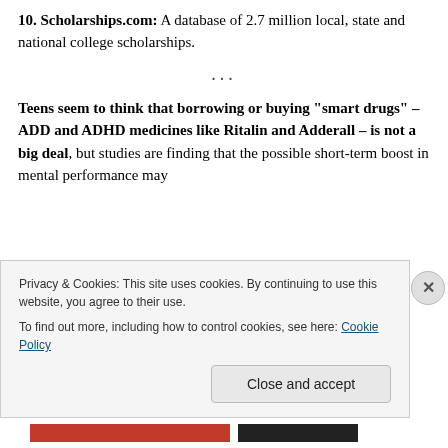10. Scholarships.com: A database of 2.7 million local, state and national college scholarships.
...
Teens seem to think that borrowing or buying "smart drugs" – ADD and ADHD medicines like Ritalin and Adderall – is not a big deal, but studies are finding that the possible short-term boost in mental performance may
Privacy & Cookies: This site uses cookies. By continuing to use this website, you agree to their use.
To find out more, including how to control cookies, see here: Cookie Policy